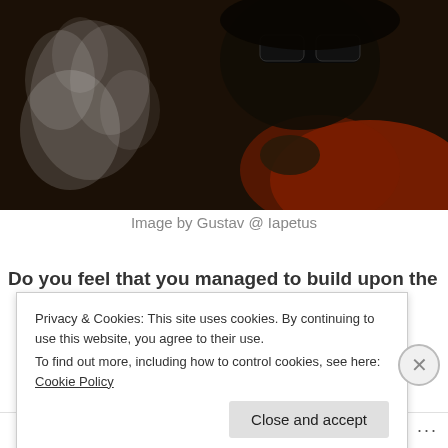[Figure (photo): Dark-toned photo of a person wearing sunglasses and smoking, holding something, dressed in orange/red clothing, with smoke visible in the foreground against a dark background.]
Image by Gustav @ Iapetus
Do you feel that you managed to build upon the
Privacy & Cookies: This site uses cookies. By continuing to use this website, you agree to their use.
To find out more, including how to control cookies, see here: Cookie Policy
Close and accept
Follow